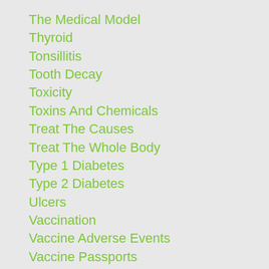The Medical Model
Thyroid
Tonsillitis
Tooth Decay
Toxicity
Toxins And Chemicals
Treat The Causes
Treat The Whole Body
Type 1 Diabetes
Type 2 Diabetes
Ulcers
Vaccination
Vaccine Adverse Events
Vaccine Passports
Vaccine Research
Vaccines
Vaccine Testing
Vegan
Vegetables